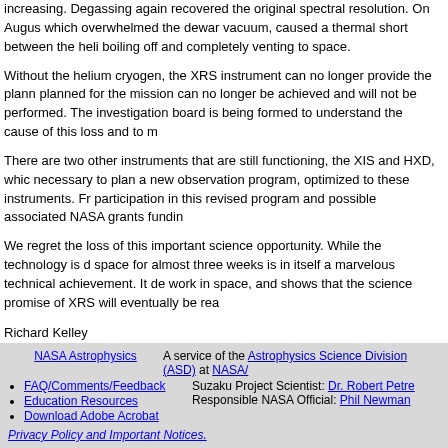increasing. Degassing again recovered the original spectral resolution. On August, which overwhelmed the dewar vacuum, caused a thermal short between the helium boiling off and completely venting to space.
Without the helium cryogen, the XRS instrument can no longer provide the planned for the mission can no longer be achieved and will not be performed. The investigation board is being formed to understand the cause of this loss and to m
There are two other instruments that are still functioning, the XIS and HXD, which necessary to plan a new observation program, optimized to these instruments. Fr participation in this revised program and possible associated NASA grants fundin
We regret the loss of this important science opportunity. While the technology is c space for almost three weeks is in itself a marvelous technical achievement. It de work in space, and shows that the science promise of XRS will eventually be rea
Richard Kelley
Suzaku NASA Principal Investigator
Nicholas White
Suzaku NASA Project Scientist
If you have any questions concerning Suzaku, visit the Feedback form.
This file was last modified on Monday, 14-Aug-2006 13:41:37 EDT
NASA Astrophysics | A service of the Astrophysics Science Division (ASD) at NASA/ | FAQ/Comments/Feedback | Education Resources | Download Adobe Acrobat | Suzaku Project Scientist: Dr. Robert Petre | Responsible NASA Official: Phil Newman | Privacy Policy and Important Notices.